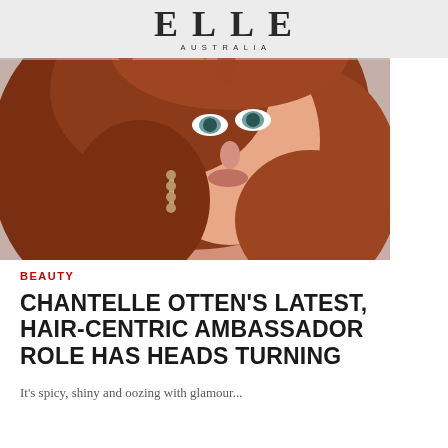ELLE AUSTRALIA
[Figure (photo): Close-up portrait of a woman with long auburn/red wavy hair, green eyes, glowing makeup, and dangling earrings, against a neutral background.]
BEAUTY
CHANTELLE OTTEN'S LATEST, HAIR-CENTRIC AMBASSADOR ROLE HAS HEADS TURNING
It's spicy, shiny and oozing with glamour...